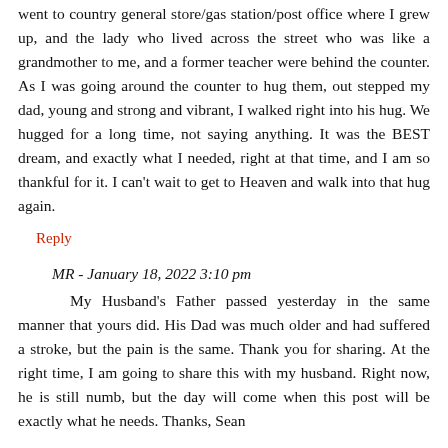went to country general store/gas station/post office where I grew up, and the lady who lived across the street who was like a grandmother to me, and a former teacher were behind the counter. As I was going around the counter to hug them, out stepped my dad, young and strong and vibrant, I walked right into his hug. We hugged for a long time, not saying anything. It was the BEST dream, and exactly what I needed, right at that time, and I am so thankful for it. I can't wait to get to Heaven and walk into that hug again.
Reply
MR - January 18, 2022 3:10 pm
My Husband's Father passed yesterday in the same manner that yours did. His Dad was much older and had suffered a stroke, but the pain is the same. Thank you for sharing. At the right time, I am going to share this with my husband. Right now, he is still numb, but the day will come when this post will be exactly what he needs. Thanks, Sean